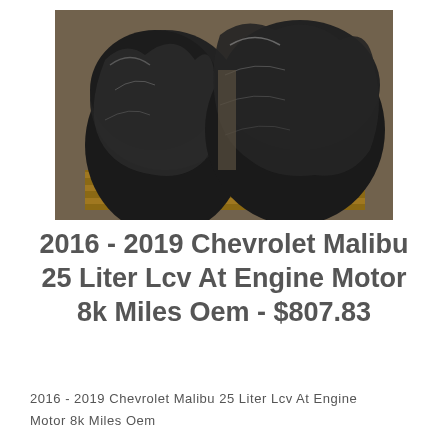[Figure (photo): Two car engines wrapped in black plastic sheeting, sitting on a wooden pallet in a warehouse or storage setting.]
2016 - 2019 Chevrolet Malibu 25 Liter Lcv At Engine Motor 8k Miles Oem - $807.83
2016 - 2019 Chevrolet Malibu 25 Liter Lcv At Engine Motor 8k Miles Oem